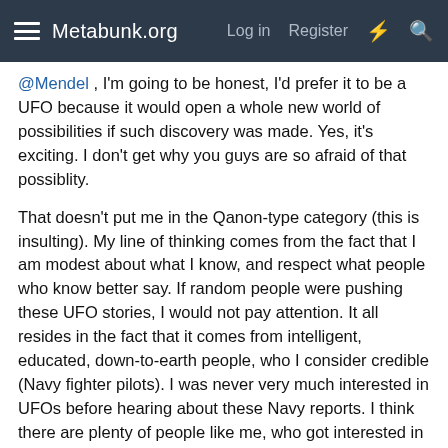Metabunk.org  Log in  Register
@Mendel , I'm going to be honest, I'd prefer it to be a UFO because it would open a whole new world of possibilities if such discovery was made. Yes, it's exciting. I don't get why you guys are so afraid of that possiblity.
That doesn't put me in the Qanon-type category (this is insulting). My line of thinking comes from the fact that I am modest about what I know, and respect what people who know better say. If random people were pushing these UFO stories, I would not pay attention. It all resides in the fact that it comes from intelligent, educated, down-to-earth people, who I consider credible (Navy fighter pilots). I was never very much interested in UFOs before hearing about these Navy reports. I think there are plenty of people like me, who got interested in that stuff because of this. So ok TTSA is full of crap, but I don't care about debunking them, I want to learn the truth (like many).
Your last sentence sounds very presomptuous, a tone I see often around here. You were not there, they were. Your model